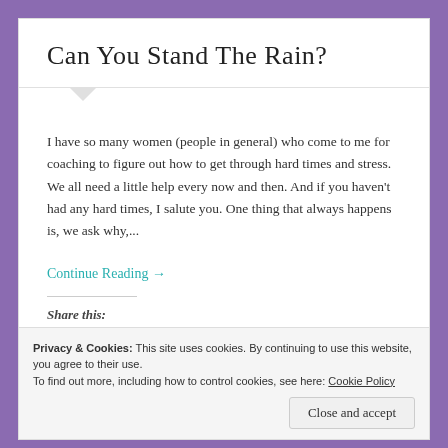Can You Stand The Rain?
I have so many women (people in general) who come to me for coaching to figure out how to get through hard times and stress. We all need a little help every now and then. And if you haven't had any hard times, I salute you. One thing that always happens is, we ask why,...
Continue Reading →
Share this:
Privacy & Cookies: This site uses cookies. By continuing to use this website, you agree to their use.
To find out more, including how to control cookies, see here: Cookie Policy